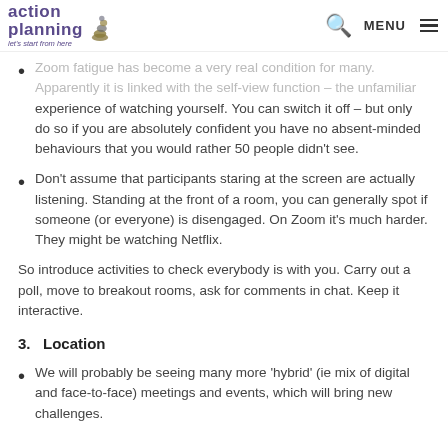action planning | let's start from here | MENU
Zoom fatigue has become a very real condition for many. Apparently it is linked with the self-view function – the unfamiliar experience of watching yourself. You can switch it off – but only do so if you are absolutely confident you have no absent-minded behaviours that you would rather 50 people didn't see.
Don't assume that participants staring at the screen are actually listening. Standing at the front of a room, you can generally spot if someone (or everyone) is disengaged. On Zoom it's much harder. They might be watching Netflix.
So introduce activities to check everybody is with you. Carry out a poll, move to breakout rooms, ask for comments in chat. Keep it interactive.
3.   Location
We will probably be seeing many more 'hybrid' (ie mix of digital and face-to-face) meetings and events, which will bring new challenges.